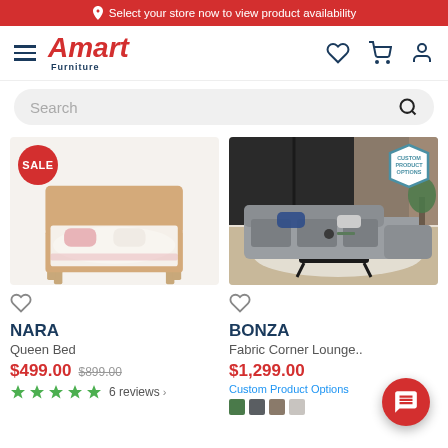📍 Select your store now to view product availability
[Figure (logo): Amart Furniture logo with hamburger menu and nav icons (heart, cart, user)]
Search
[Figure (photo): NARA Queen Bed - wooden bed frame with pink bedding, SALE badge]
[Figure (photo): BONZA Fabric Corner Lounge - grey sectional sofa in living room, Custom Product Options badge]
NARA
Queen Bed
$499.00  $899.00
6 reviews
BONZA
Fabric Corner Lounge..
$1,299.00
Custom Product Options